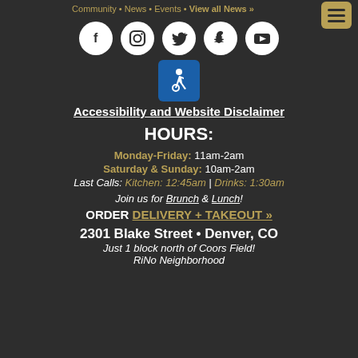Community • News • Events • View all News »
[Figure (other): Social media icons: Facebook, Instagram, Twitter, Snapchat, YouTube — white circles on dark background]
[Figure (other): Blue wheelchair accessibility icon in blue square]
Accessibility and Website Disclaimer
HOURS:
Monday-Friday: 11am-2am
Saturday & Sunday: 10am-2am
Last Calls: Kitchen: 12:45am | Drinks: 1:30am
Join us for Brunch & Lunch!
ORDER DELIVERY + TAKEOUT »
2301 Blake Street • Denver, CO
Just 1 block north of Coors Field! RiNo Neighborhood